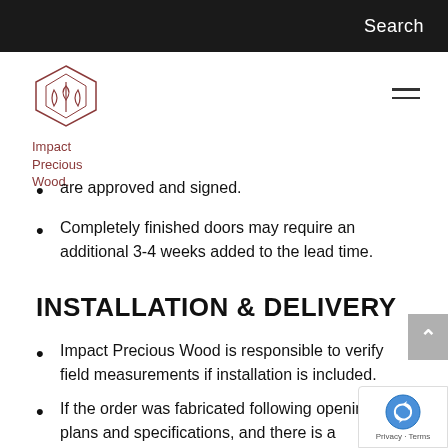Search
[Figure (logo): Impact Precious Wood logo with geometric house/tree icon in dark red and text 'Impact Precious Wood.' in dark red]
are approved and signed.
Completely finished doors may require an additional 3-4 weeks added to the lead time.
INSTALLATION & DELIVERY
Impact Precious Wood is responsible to verify field measurements if installation is included.
If the order was fabricated following opening plans and specifications, and there is a discrepancy in the opening dimensions, we